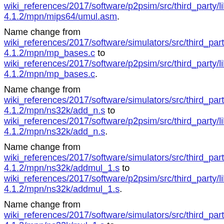wiki_references/2017/software/p2psim/src/third_party/libgmp-4.1.2/mpn/mips64/umul.asm.
Name change from wiki_references/2017/software/simulators/src/third_party/libgmp-4.1.2/mpn/mp_bases.c to wiki_references/2017/software/p2psim/src/third_party/libgmp-4.1.2/mpn/mp_bases.c.
Name change from wiki_references/2017/software/simulators/src/third_party/libgmp-4.1.2/mpn/ns32k/add_n.s to wiki_references/2017/software/p2psim/src/third_party/libgmp-4.1.2/mpn/ns32k/add_n.s.
Name change from wiki_references/2017/software/simulators/src/third_party/libgmp-4.1.2/mpn/ns32k/addmul_1.s to wiki_references/2017/software/p2psim/src/third_party/libgmp-4.1.2/mpn/ns32k/addmul_1.s.
Name change from wiki_references/2017/software/simulators/src/third_party/libgmp-4.1.2/mpn/ns32k/mul_1.s to wiki_references/2017/software/p2psim/src/third_party/libgmp-4.1.2/mpn/ns32k/mul_1.s.